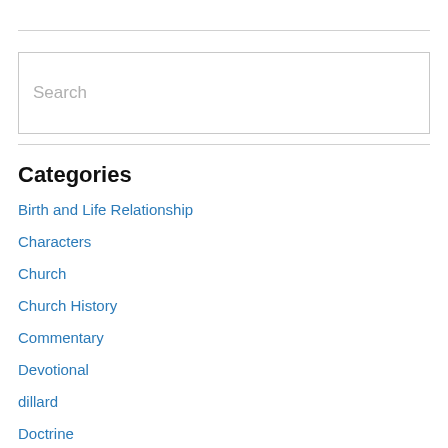[Figure (other): Search input box with placeholder text 'Search']
Categories
Birth and Life Relationship
Characters
Church
Church History
Commentary
Devotional
dillard
Doctrine
Dr. Melancon
Ecclesiology – Church
End Time Events
Hebrew